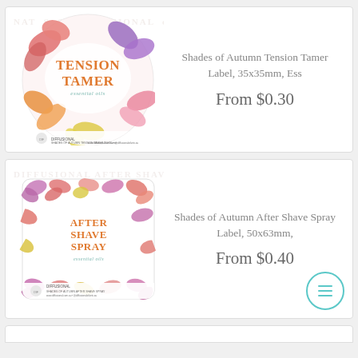[Figure (photo): Product listing card 1: circular floral label for 'Tension Tamer Essential Oils' with autumn flower decorations in pinks, purples, oranges, yellows. Text on label reads 'TENSION TAMER essential oils'. Bottom bar shows Diffusional branding.]
Shades of Autumn Tension Tamer Label, 35x35mm, Ess
From $0.30
[Figure (photo): Product listing card 2: square floral label for 'After Shave Spray Essential Oils' with autumn flower decorations in pinks, purples, oranges, yellows. Text on label reads 'AFTER SHAVE SPRAY essential oils'. Bottom bar shows Diffusional branding.]
Shades of Autumn After Shave Spray Label, 50x63mm,
From $0.40